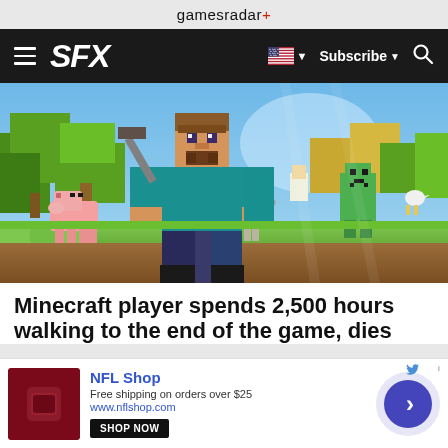gamesradar+
SFX  Subscribe
[Figure (screenshot): Minecraft promotional artwork showing the main character Steve walking with a pickaxe, surrounded by animals including a pig and wolf, and a creeper, in a blocky green landscape with trees.]
Minecraft player spends 2,500 hours walking to the end of the game, dies
[Figure (other): Advertisement for NFL Shop showing a dark red NFL jersey/apparel logo, text 'NFL Shop', 'Free shipping on orders over $25', 'www.nflshop.com', a 'SHOP NOW' button, and a circular arrow navigation button on the right.]